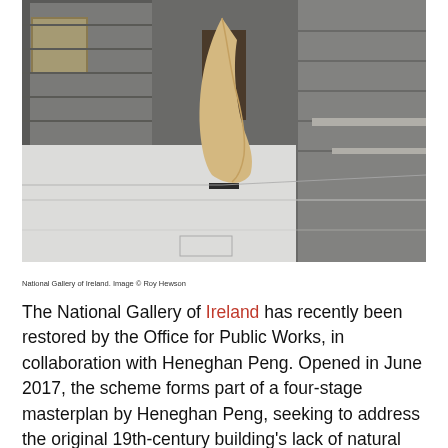[Figure (photo): Interior courtyard of the National Gallery of Ireland showing a tall curved wooden sculpture on a white floor, with grey stone walls on either side and windows. A doorway is visible in the background.]
National Gallery of Ireland. Image © Roy Hewson
The National Gallery of Ireland has recently been restored by the Office for Public Works, in collaboration with Heneghan Peng. Opened in June 2017, the scheme forms part of a four-stage masterplan by Heneghan Peng, seeking to address the original 19th-century building's lack of natural light and level